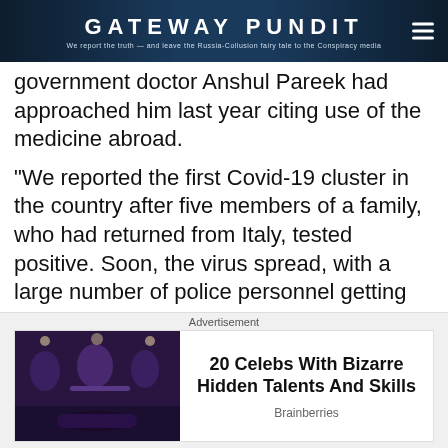GATEWAY PUNDIT — We report the truth — and leave the Russia-Collusion fairy tale to the Conspiracy media
government doctor Anshul Pareek had approached him last year citing use of the medicine abroad.
“We reported the first Covid-19 cluster in the country after five members of a family, who had returned from Italy, tested positive. Soon, the virus spread, with a large number of police personnel getting affected. Doctor Pareek approached me with a request to introduce Ivermectin on an experimental basis. I was told there are no risks
Advertisement
20 Celebs With Bizarre Hidden Talents And Skills
Brainberries